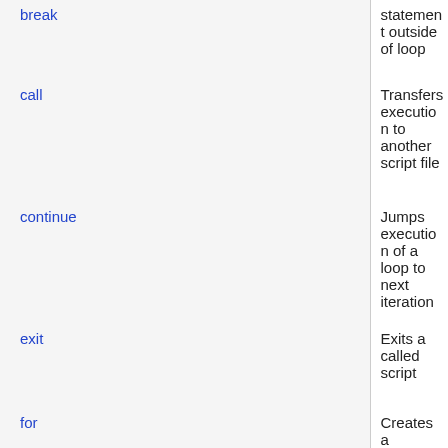| Keyword | Description |
| --- | --- |
| break | statement outside of loop |
| call | Transfers execution to another script file |
| continue | Jumps execution of a loop to next iteration |
| exit | Exits a called script |
| for | Creates a counting loop |
| gosub | Transfers execution to the matching sub |
| goto | Jumps to another part of the script given by a label |
| halt | Stops the script |
| if | Executes code based on the evaluation of an |